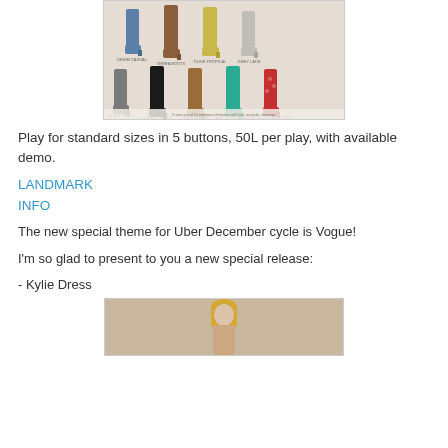[Figure (photo): Grid of fashion boots in various colors and styles on a beige background]
Play for standard sizes in 5 buttons, 50L per play, with available demo.
LANDMARK
INFO
The new special theme for Uber December cycle is Vogue!
I'm so glad to present to you a new special release:
- Kylie Dress
[Figure (photo): Fashion model with blonde hair on textured background, partial view]